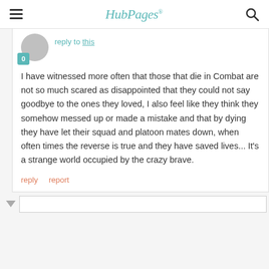HubPages
reply to this
I have witnessed more often that those that die in Combat are not so much scared as disappointed that they could not say goodbye to the ones they loved, I also feel like they think they somehow messed up or made a mistake and that by dying they have let their squad and platoon mates down, when often times the reverse is true and they have saved lives... It's a strange world occupied by the crazy brave.
reply   report